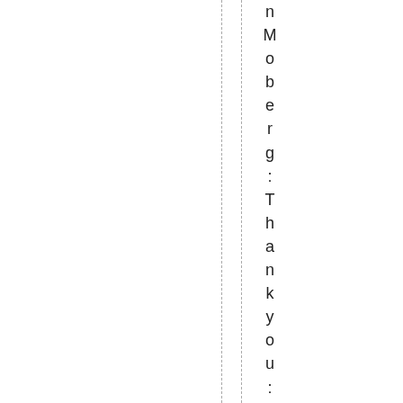nMoberg: Thank you: yes ,we think our